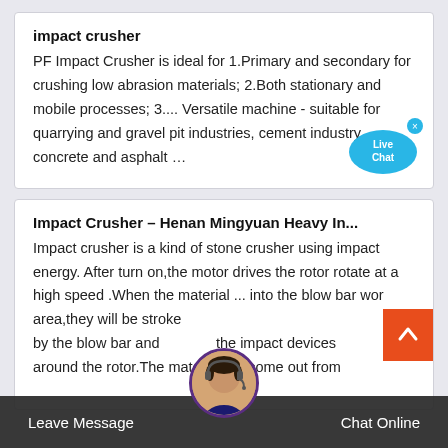impact crusher
PF Impact Crusher is ideal for 1.Primary and secondary for crushing low abrasion materials; 2.Both stationary and mobile processes; 3.... Versatile machine - suitable for quarrying and gravel pit industries, cement industry, concrete and asphalt …
Impact Crusher – Henan Mingyuan Heavy In...
Impact crusher is a kind of stone crusher using impact energy. After turn on,the motor drives the rotor rotate at a high speed .When the material ... into the blow bar work area,they will be stroke by the blow bar and go to the impact devices around the rotor.The material will come out from
Leave Message
Chat Online